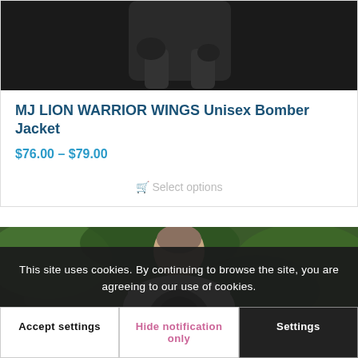[Figure (photo): Top portion of a person wearing a black outfit against a dark background, cropped to show torso area]
MJ LION WARRIOR WINGS Unisex Bomber Jacket
$76.00 – $79.00
Select options
[Figure (photo): Person seen from behind with a short haircut, wearing a white top with a dark printed design, standing in front of green foliage]
This site uses cookies. By continuing to browse the site, you are agreeing to our use of cookies.
Accept settings
Hide notification only
Settings